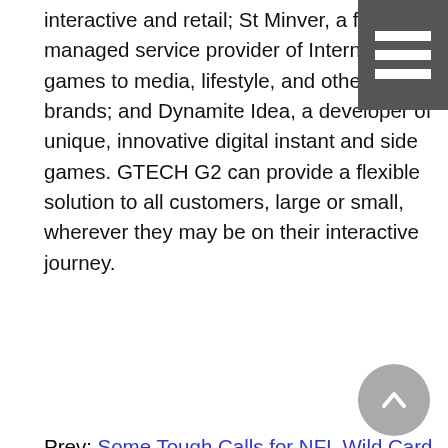interactive and retail; St Minver, a fully managed service provider of Internet games to media, lifestyle, and other brands; and Dynamite Idea, a developer of unique, innovative digital instant and side games. GTECH G2 can provide a flexible solution to all customers, large or small, wherever they may be on their interactive journey.
Prev: Some Tough Calls for NFL Wild Card Playoffs this Weekend but Intertops Sportsbook Favors the Colts, Saints, Eagles and Ravens
Next: Savings Record Broken as Bidibot Penny Auction Site Continues To Consistently Deliver Staggering Discounts